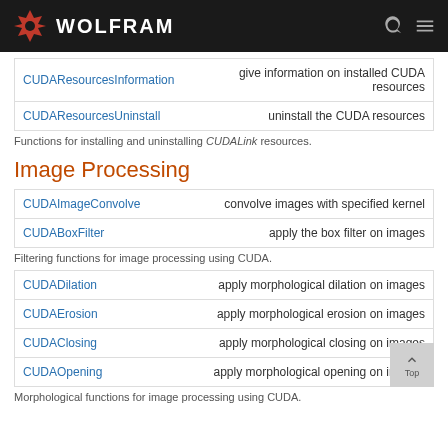WOLFRAM
| Function | Description |
| --- | --- |
| CUDAResourcesInformation | give information on installed CUDA resources |
| CUDAResourcesUninstall | uninstall the CUDA resources |
Functions for installing and uninstalling CUDALink resources.
Image Processing
| Function | Description |
| --- | --- |
| CUDAImageConvolve | convolve images with specified kernel |
| CUDABoxFilter | apply the box filter on images |
Filtering functions for image processing using CUDA.
| Function | Description |
| --- | --- |
| CUDADilation | apply morphological dilation on images |
| CUDAErosion | apply morphological erosion on images |
| CUDAClosing | apply morphological closing on images |
| CUDAOpening | apply morphological opening on images |
Morphological functions for image processing using CUDA.